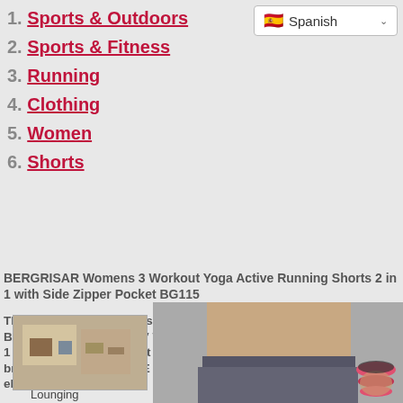1. Sports & Outdoors
2. Sports & Fitness
3. Running
4. Clothing
5. Women
6. Shorts
Spanish (language selector)
BERGRISAR Womens 3 Workout Yoga Active Running Shorts 2 in 1 with Side Zipper Pocket BG115
The Hottest Design ship same-day on orders before 3 p.m. Buy BERGRISAR Women's 3" Workout Yoga Active Running Shorts 2 in 1 with Side Zipper Pocket BG115 Pink Size L: Shop top fashion brands Shorts at ✓ FREE DELIVERY and Returns possible on eligible purchases
[Figure (photo): Small thumbnail of a lounging area]
Lounging
[Figure (photo): Product photo showing woman wearing workout shorts with pink wristbands]